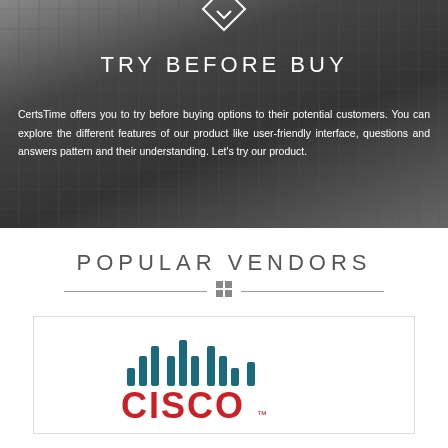TRY BEFORE BUY
CertsTime offers you to try before buying options to their potential customers. You can explore the different features of our product like user-friendly interface, questions and answers pattern and their understanding. Let's try our product.
POPULAR VENDORS
[Figure (logo): Cisco logo with signal bars icon in teal/dark blue and red CISCO text]